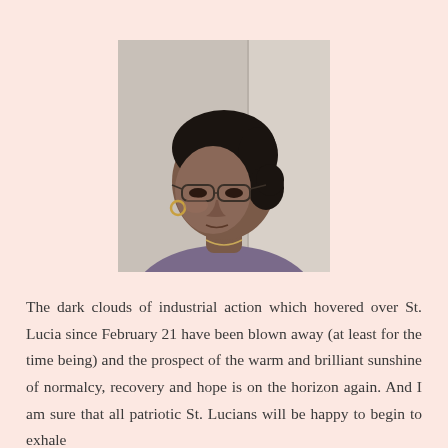[Figure (photo): Portrait photo of a woman with glasses wearing a purple top, looking slightly to the side. Hair pulled back. Gold hoop earring visible.]
The dark clouds of industrial action which hovered over St. Lucia since February 21 have been blown away (at least for the time being) and the prospect of the warm and brilliant sunshine of normalcy, recovery and hope is on the horizon again. And I am sure that all patriotic St. Lucians will be happy to begin to exhale